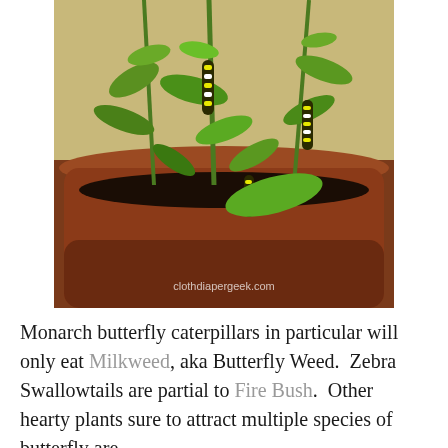[Figure (photo): Monarch butterfly caterpillars on milkweed plants growing in a terracotta pot, with a wooden fence in the background. Watermark reads clothdiapergeek.com]
Monarch butterfly caterpillars in particular will only eat Milkweed, aka Butterfly Weed.  Zebra Swallowtails are partial to Fire Bush.  Other hearty plants sure to attract multiple species of butterfly are